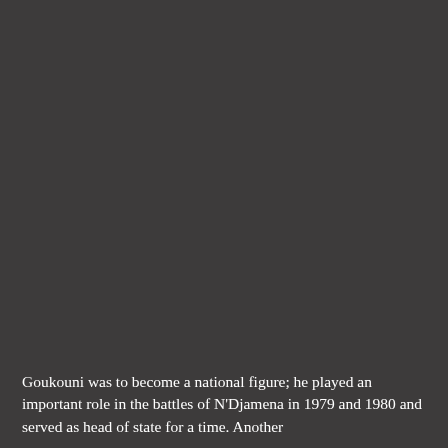[Figure (photo): Large dark grey/charcoal background image occupying most of the page, with no visible distinct subject — appears to be a dark photographic background.]
Goukouni was to become a national figure; he played an important role in the battles of N'Djamena in 1979 and 1980 and served as head of state for a time. Another